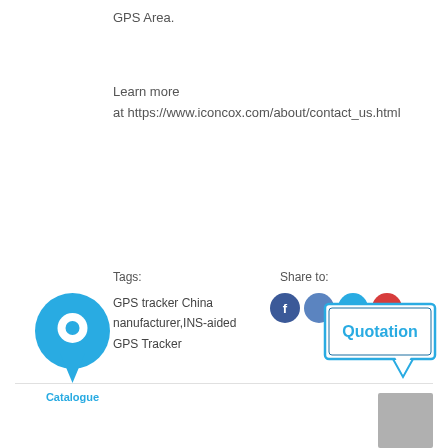GPS Area.
Learn more
at https://www.iconcox.com/about/contact_us.html
Tags:
Share to:
[Figure (illustration): Blue map pin / location marker icon with Catalogue label below]
GPS tracker China nanufacturer,INS-aided GPS Tracker
[Figure (illustration): Social share icons: Facebook (blue circle with f), two more blue circles, one red circle, and a Quotation speech bubble graphic in blue]
[Figure (illustration): Grey square box in bottom right corner]